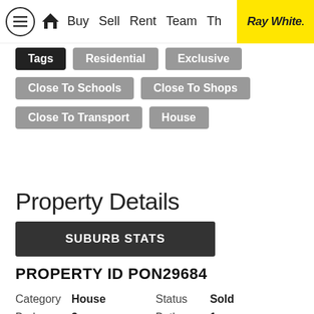Buy Sell Rent Team The  Ray White.
Tags  Residential  Exclusive
Close To Schools  Close To Shops
Close To Transport  House
Property Details
SUBURB STATS
PROPERTY ID PON29684
| Field | Value | Field | Value |
| --- | --- | --- | --- |
| Category | House | Status | Sold |
| Bedrooms | 3 | Bathrooms | 1 |